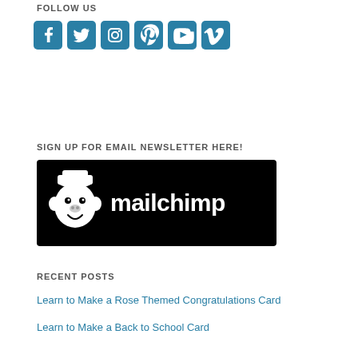FOLLOW US
[Figure (illustration): Social media icons for Facebook, Twitter, Instagram, Pinterest, YouTube, and Vimeo in teal/blue color]
SIGN UP FOR EMAIL NEWSLETTER HERE!
[Figure (logo): Mailchimp logo on black background — monkey mascot head and 'mailchimp' wordmark in white]
RECENT POSTS
Learn to Make a Rose Themed Congratulations Card
Learn to Make a Back to School Card